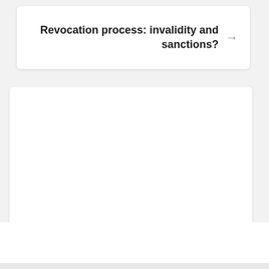Revocation process: invalidity and sanctions?